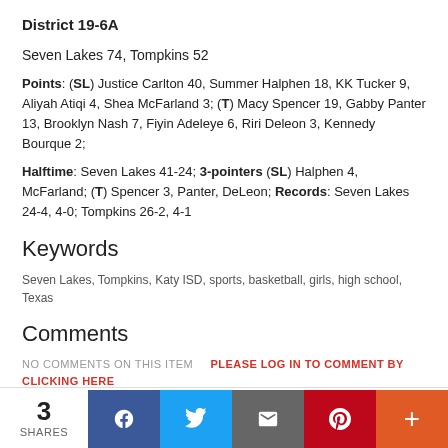District 19-6A
Seven Lakes 74, Tompkins 52
Points: (SL) Justice Carlton 40, Summer Halphen 18, KK Tucker 9, Aliyah Atiqi 4, Shea McFarland 3; (T) Macy Spencer 19, Gabby Panter 13, Brooklyn Nash 7, Fiyin Adeleye 6, Riri Deleon 3, Kennedy Bourque 2;
Halftime: Seven Lakes 41-24; 3-pointers (SL) Halphen 4, McFarland; (T) Spencer 3, Panter, DeLeon; Records: Seven Lakes 24-4, 4-0; Tompkins 26-2, 4-1
Keywords
Seven Lakes, Tompkins, Katy ISD, sports, basketball, girls, high school, Texas
Comments
NO COMMENTS ON THIS ITEM   PLEASE LOG IN TO COMMENT BY CLICKING HERE